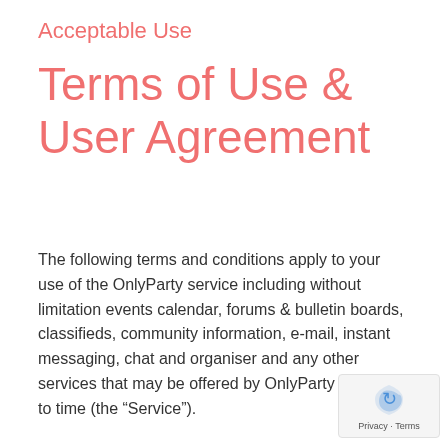Acceptable Use
Terms of Use & User Agreement
The following terms and conditions apply to your use of the OnlyParty service including without limitation events calendar, forums & bulletin boards, classifieds, community information, e-mail, instant messaging, chat and organiser and any other services that may be offered by OnlyParty from time to time (the “Service”).